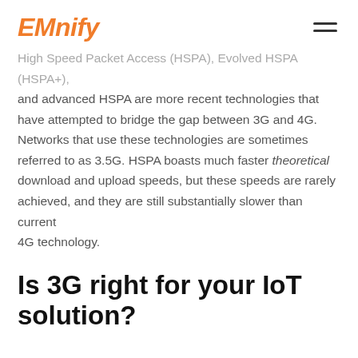EMnify
High Speed Packet Access (HSPA), Evolved HSPA (HSPA+), and advanced HSPA are more recent technologies that have attempted to bridge the gap between 3G and 4G. Networks that use these technologies are sometimes referred to as 3.5G. HSPA boasts much faster theoretical download and upload speeds, but these speeds are rarely achieved, and they are still substantially slower than current 4G technology.
Is 3G right for your IoT solution?
3G is one of the more commonly used standards for IoT. T...